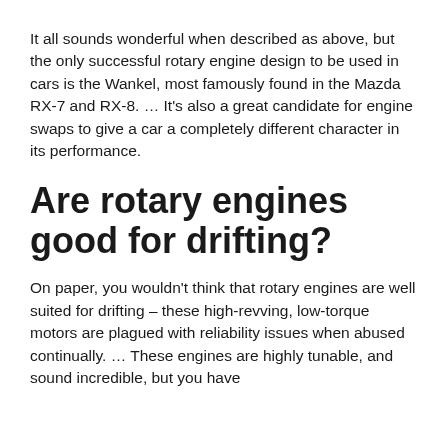It all sounds wonderful when described as above, but the only successful rotary engine design to be used in cars is the Wankel, most famously found in the Mazda RX-7 and RX-8. … It's also a great candidate for engine swaps to give a car a completely different character in its performance.
Are rotary engines good for drifting?
On paper, you wouldn't think that rotary engines are well suited for drifting – these high-revving, low-torque motors are plagued with reliability issues when abused continually. … These engines are highly tunable, and sound incredible, but you have